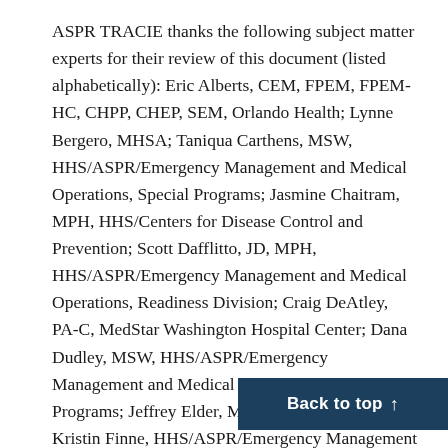ASPR TRACIE thanks the following subject matter experts for their review of this document (listed alphabetically): Eric Alberts, CEM, FPEM, FPEM-HC, CHPP, CHEP, SEM, Orlando Health; Lynne Bergero, MHSA; Taniqua Carthens, MSW, HHS/ASPR/Emergency Management and Medical Operations, Special Programs; Jasmine Chaitram, MPH, HHS/Centers for Disease Control and Prevention; Scott Dafflitto, JD, MPH, HHS/ASPR/Emergency Management and Medical Operations, Readiness Division; Craig DeAtley, PA-C, MedStar Washington Hospital Center; Dana Dudley, MSW, HHS/ASPR/Emergency Management and Medical Operations, Special Programs; Jeffrey Elder, MD, LCMC Health; Kristin Finne, HHS/ASPR/Emergency Management and Medical Operations, Readiness Division; Mark Jarrett, MD, MBA, MS, Northwell Health; HHS/ASPR/Emergency Manage...